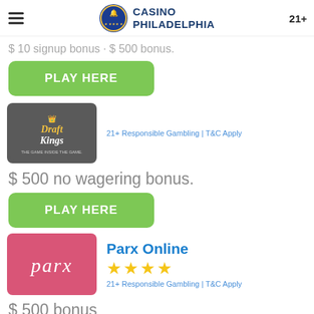CASINO PHILADELPHIA 21+
$ 10 signup bonus · $ 500 bonus.
PLAY HERE
[Figure (logo): DraftKings logo on dark grey background with text 'THE GAME INSIDE THE GAME.']
21+ Responsible Gambling | T&C Apply
$ 500 no wagering bonus.
PLAY HERE
[Figure (logo): Parx casino logo on pink/red background]
Parx Online
★★★★
21+ Responsible Gambling | T&C Apply
$ 500 bonus